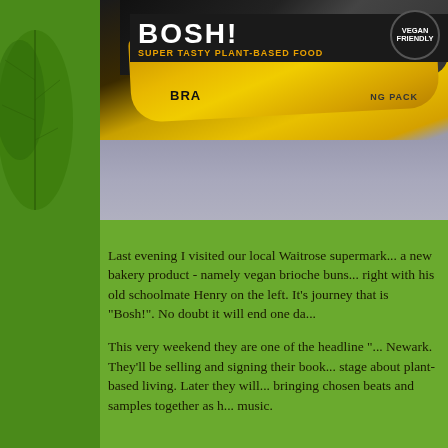[Figure (photo): A photograph of a BOSH! branded vegan food package (yellow and dark packaging) on a grey surface. The package shows 'SUPER TASTY PLANT-BASED FOOD' and a 'VEGAN FRIENDLY' badge.]
Last evening I visited our local Waitrose supermark... a new bakery product - namely vegan brioche buns... right with his old schoolmate Henry on the left. It's journey that is "Bosh!". No doubt it will end one da...
This very weekend they are one of the headline "... Newark. They'll be selling and signing their book... stage about plant-based living. Later they will... bringing chosen beats and samples together as h... music.